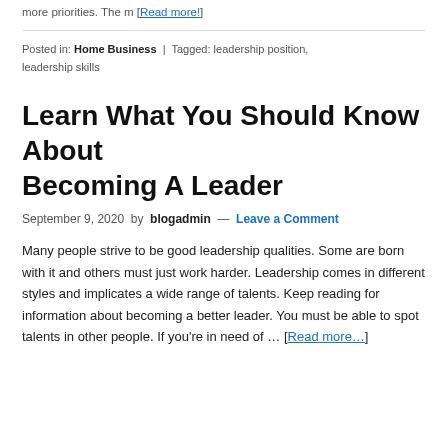more priorities. The m [Read more!]
Posted in: Home Business | Tagged: leadership position, leadership skills
Learn What You Should Know About Becoming A Leader
September 9, 2020 by blogadmin — Leave a Comment
Many people strive to be good leadership qualities. Some are born with it and others must just work harder. Leadership comes in different styles and implicates a wide range of talents. Keep reading for information about becoming a better leader. You must be able to spot talents in other people. If you're in need of … [Read more…]